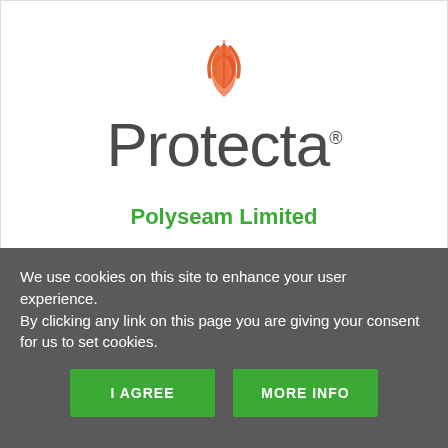[Figure (logo): Protecta logo with orange stylized hand/flame icon above the word Protecta in large gray sans-serif font with registered trademark symbol]
Polyseam Limited
We use cookies on this site to enhance your user experience.
By clicking any link on this page you are giving your consent for us to set cookies.
I AGREE
MORE INFO